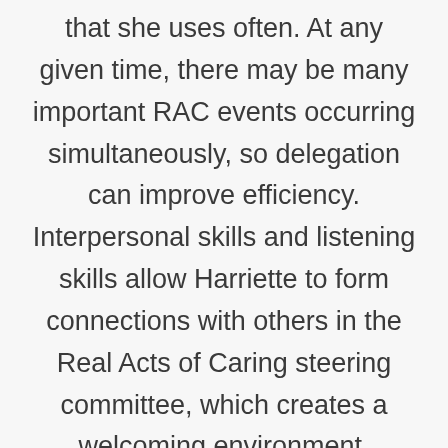that she uses often. At any given time, there may be many important RAC events occurring simultaneously, so delegation can improve efficiency. Interpersonal skills and listening skills allow Harriette to form connections with others in the Real Acts of Caring steering committee, which creates a welcoming environment. Planning and multi-tasking are also really important. As previously mentioned, RAC often has many different events occurring in a short